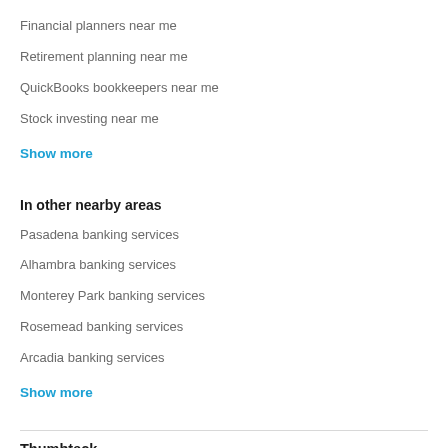Financial planners near me
Retirement planning near me
QuickBooks bookkeepers near me
Stock investing near me
Show more
In other nearby areas
Pasadena banking services
Alhambra banking services
Monterey Park banking services
Rosemead banking services
Arcadia banking services
Show more
Thumbtack
Consider it done